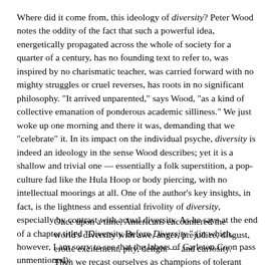Where did it come from, this ideology of diversity? Peter Wood notes the oddity of the fact that such a powerful idea, energetically propagated across the whole of society for a quarter of a century, has no founding text to refer to, was inspired by no charismatic teacher, was carried forward with no mighty struggles or cruel reverses, has roots in no significant philosophy. "It arrived unparented," says Wood, "as a kind of collective emanation of ponderous academic silliness." We just woke up one morning and there it was, demanding that we "celebrate" it. In its impact on the individual psyche, diversity is indeed an ideology in the sense Wood describes; yet it is a shallow and trivial one — essentially a folk superstition, a pop-culture fad like the Hula Hoop or body piercing, with no intellectual moorings at all. One of the author's key insights, in fact, is the lightness and essential frivolity of diversity, especially by contrast with actual diversity. As he says at the end of a chapter titled "Diversity Before Diversity" (in which, however, I am sorry to see that the labors of Carleton Coon pass unmentioned):
Once upon a time, Americans encountered the world's diversity with awe, anger, prejudice, disgust, erotic excitement, pity, delight — and curiosity. Then we recast ourselves as champions of tolerant diversity, became fearful of inconvenient